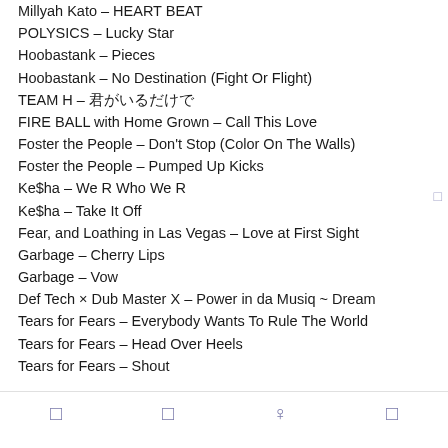Millyah Kato – HEART BEAT
POLYSICS – Lucky Star
Hoobastank – Pieces
Hoobastank – No Destination (Fight Or Flight)
TEAM H – 君がいるだけで
FIRE BALL with Home Grown – Call This Love
Foster the People – Don't Stop (Color On The Walls)
Foster the People – Pumped Up Kicks
Ke$ha – We R Who We R
Ke$ha – Take It Off
Fear, and Loathing in Las Vegas – Love at First Sight
Garbage – Cherry Lips
Garbage – Vow
Def Tech × Dub Master X – Power in da Musiq ~ Dream
Tears for Fears – Everybody Wants To Rule The World
Tears for Fears – Head Over Heels
Tears for Fears – Shout
Navigation bar with icons